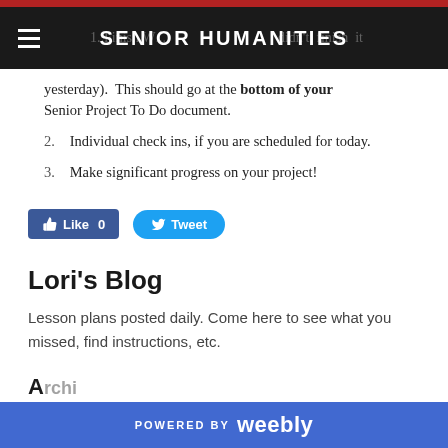SENIOR HUMANITIES
1.  Finish W... (if you didn't finish it yesterday).  This should go at the bottom of your Senior Project To Do document.
2.  Individual check ins, if you are scheduled for today.
3.  Make significant progress on your project!
[Figure (screenshot): Facebook Like button showing count 0 and Twitter Tweet button]
Lori's Blog
Lesson plans posted daily. Come here to see what you missed, find instructions, etc.
POWERED BY weebly